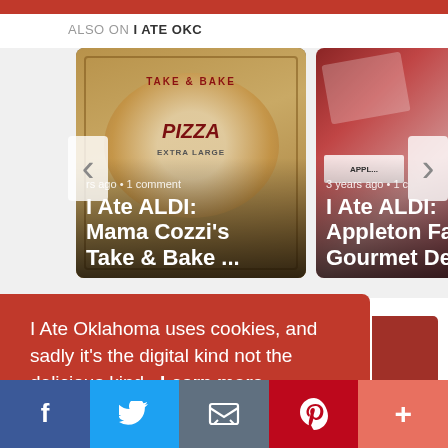ALSO ON I ATE OKC
[Figure (photo): Carousel showing two ALDI food review cards with navigation arrows. Left card: I Ate ALDI: Mama Cozzi's Take & Bake ... (pizza box image, years ago, 1 comment). Right card: I Ate ALDI: Appleton Far... Gourmet Deli... (deli meat image, 3 years ago, 1 c...).]
I Ate Oklahoma uses cookies, and sadly it's the digital kind not the delicious kind. Learn more
[Figure (screenshot): Get it! button (partially visible, yellow/orange)]
[Figure (infographic): Social share bar with Facebook, Twitter, Email, Pinterest, and More (+) buttons]